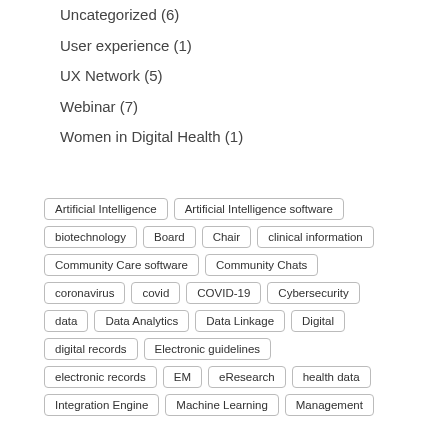Uncategorized (6)
User experience (1)
UX Network (5)
Webinar (7)
Women in Digital Health (1)
Artificial Intelligence
Artificial Intelligence software
biotechnology
Board
Chair
clinical information
Community Care software
Community Chats
coronavirus
covid
COVID-19
Cybersecurity
data
Data Analytics
Data Linkage
Digital
digital records
Electronic guidelines
electronic records
EM
eResearch
health data
Integration Engine
Machine Learning
Management